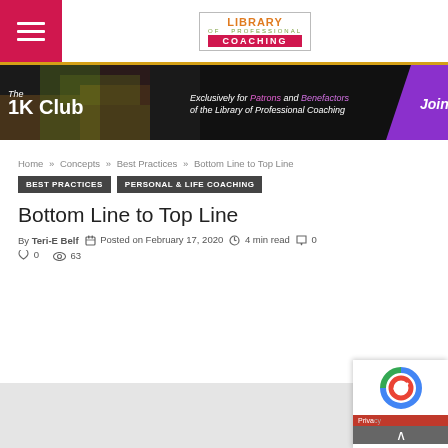Library of Professional Coaching
[Figure (infographic): The 1K Club banner - Exclusively for Patrons and Benefactors of the Library of Professional Coaching. Join.]
Home » Concepts » Best Practices » Bottom Line to Top Line
BEST PRACTICES   PERSONAL & LIFE COACHING
Bottom Line to Top Line
By Teri-E Belf   Posted on February 17, 2020   4 min read   0 comments   0 likes   63 views